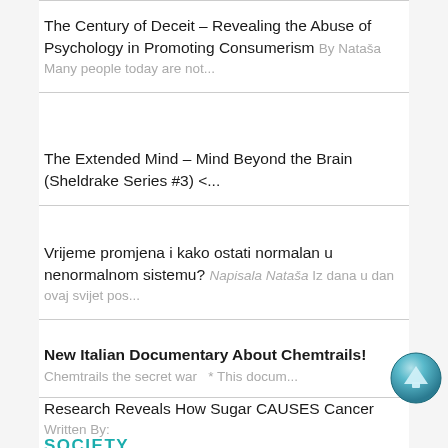The Century of Deceit – Revealing the Abuse of Psychology in Promoting Consumerism By Nataša Many people today are not...
The Extended Mind – Mind Beyond the Brain (Sheldrake Series #3) <...
Vrijeme promjena i kako ostati normalan u nenormalnom sistemu? Napisala Nataša Iz dana u dan ovaj svijet pos...
New Italian Documentary About Chemtrails! Chemtrails the secret war   * This docum...
Research Reveals How Sugar CAUSES Cancer Written By:
SOCIETY